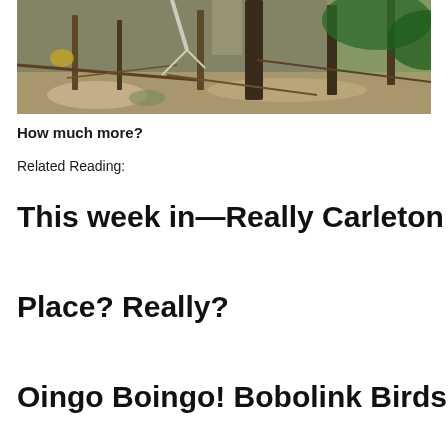[Figure (photo): A forest scene with bare tree trunks, fallen branches, and dead leaves on the ground, with some green foliage in the background and sunlight filtering through.]
How much more?
Related Reading:
This week in—Really Carleton
Place? Really?
Oingo Boingo! Bobolink Birds